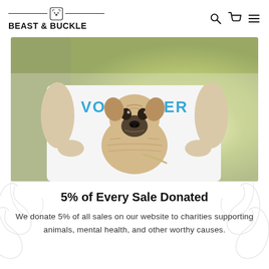BEAST & BUCKLE
[Figure (photo): A person wearing a white t-shirt that says VOLUNTEER in teal/blue text, holding a pug dog. The background is blurred green/yellow.]
5% of Every Sale Donated
We donate 5% of all sales on our website to charities supporting animals, mental health, and other worthy causes.